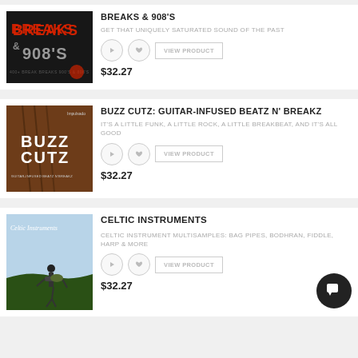[Figure (photo): Breaks & 908s album cover with red graffiti text on dark background]
BREAKS & 908'S
GET THAT UNIQUELY SATURATED SOUND OF THE PAST
$32.27
[Figure (photo): Buzz Cutz album cover with guitar and white text on dark background]
BUZZ CUTZ: GUITAR-INFUSED BEATZ N' BREAKZ
IT'S A LITTLE FUNK, A LITTLE ROCK, A LITTLE BREAKBEAT, AND IT'S ALL GOOD
$32.27
[Figure (photo): Celtic Instruments album cover showing a bagpiper on a coastal cliff]
CELTIC INSTRUMENTS
CELTIC INSTRUMENT MULTISAMPLES: BAG PIPES, BODHRAN, FIDDLE, HARP & MORE
$32.27